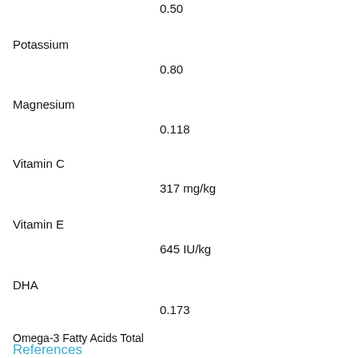0.50
Potassium
0.80
Magnesium
0.118
Vitamin C
317 mg/kg
Vitamin E
645 IU/kg
DHA
0.173
Omega-3 Fatty Acids Total
1.10
References